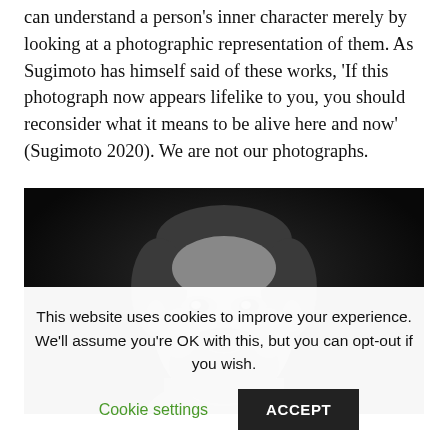intuitions. As such, they challenged the notion that we can understand a person's inner character merely by looking at a photographic representation of them. As Sugimoto has himself said of these works, 'If this photograph now appears lifelike to you, you should reconsider what it means to be alive here and now' (Sugimoto 2020). We are not our photographs.
[Figure (photo): Black and white photograph of a bearded man (appears to be Fidel Castro) against a dark background, cropped to show head and upper shoulders, partially cut off at bottom]
This website uses cookies to improve your experience. We'll assume you're OK with this, but you can opt-out if you wish.